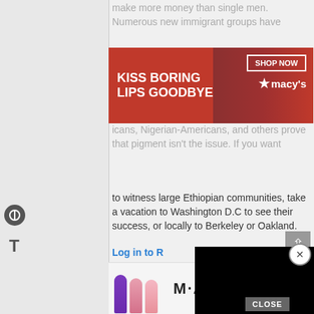make more money than single men. Numerous new immigrant groups have
[Figure (screenshot): Macy's advertisement banner: 'KISS BORING LIPS GOODBYE' with SHOP NOW button and Macy's logo on red background with model.]
icans, Nigerian-Americans, and others prove that pigment isn't the issue. If you want to witness large Ethiopian communities, take a vacation to Washington D.C to see their success, or locally to Berkeley or Oakland.
Log in to [reply]
[Figure (screenshot): EU flag avatar icon — green background with white stars arranged in a circle.]
Da[vid]
29, 2014 [date]
you appa[rently missed the point of my] comment which was not that i was disputing your stat, but rather than i wasn't going to accept it as fact without looking into it further.
[Figure (screenshot): Black video player overlay covering the right side of the comment section.]
CLOSE
[Figure (screenshot): MAC cosmetics advertisement with lipsticks and SHOP NOW button.]